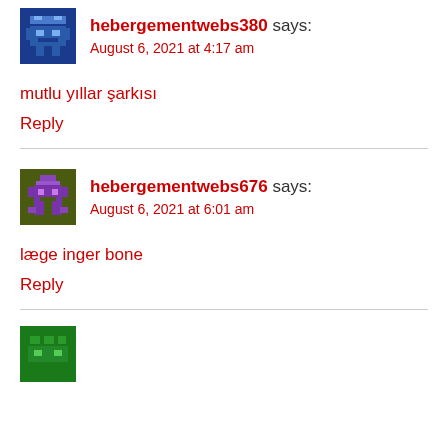[Figure (illustration): Pixel art avatar: blue background with stylized robot/character in blue and white tones]
hebergementwebs380 says:
August 6, 2021 at 4:17 am
mutlu yıllar şarkısı
Reply
[Figure (illustration): Pixel art avatar: olive/dark green background with purple robot character]
hebergementwebs676 says:
August 6, 2021 at 6:01 am
læge inger bone
Reply
[Figure (illustration): Pixel art avatar: green background, partially visible at bottom]